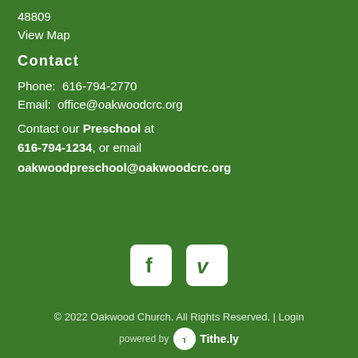48809
View Map
Contact
Phone:  616-794-2770
Email:  office@oakwoodcrc.org
Contact our Preschool at 616-794-1234, or email oakwoodpreschool@oakwoodcrc.org
[Figure (logo): Facebook icon (white F on white rounded square) and Vimeo icon (white V on white rounded square)]
© 2022 Oakwood Church. All Rights Reserved. | Login
powered by Tithe.ly